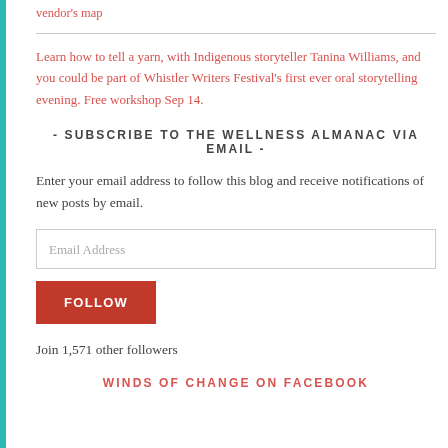vendor's map
Learn how to tell a yarn, with Indigenous storyteller Tanina Williams, and you could be part of Whistler Writers Festival's first ever oral storytelling evening. Free workshop Sep 14.
- SUBSCRIBE TO THE WELLNESS ALMANAC VIA EMAIL -
Enter your email address to follow this blog and receive notifications of new posts by email.
Email Address
FOLLOW
Join 1,571 other followers
WINDS OF CHANGE ON FACEBOOK